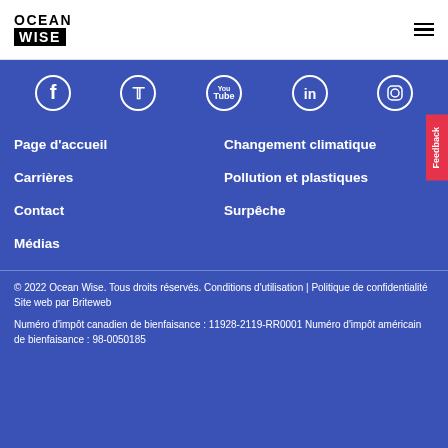[Figure (logo): Ocean Wise logo: black text OCEAN above black box with white text WISE]
[Figure (other): Hamburger menu icon (three horizontal lines)]
[Figure (other): Social media icons row: Facebook, Twitter, YouTube, LinkedIn, Instagram — white circle outlines on blue background]
Page d'accueil
Changement climatique
Carrières
Pollution et plastiques
Contact
Surpêche
Médias
© 2022 Ocean Wise. Tous droits réservés. Conditions d'utilisation | Politique de confidentialité Site web par Briteweb
Numéro d'impôt canadien de bienfaisance : 11928-2119-RR0001 Numéro d'impôt américain de bienfaisance : 98-0050185